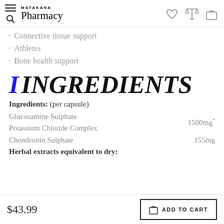MATAKANA Pharmacy
Connective tissue support
Athletes
Bone health support
I  INGREDIENTS
Ingredients: (per capsule)
Glucosamine Sulphate
Potassium Chloride Complex	1500mg*
Chondroitin Sulphate	155mg
Herbal extracts equivalent to dry:
$43.99  ADD TO CART